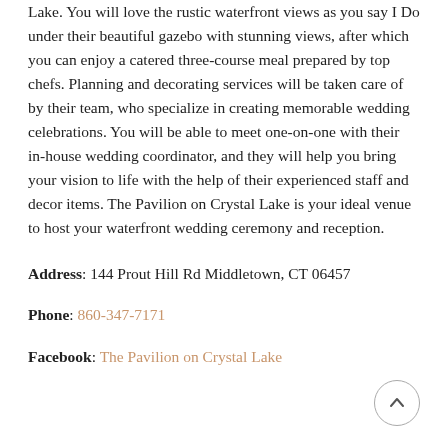Lake. You will love the rustic waterfront views as you say I Do under their beautiful gazebo with stunning views, after which you can enjoy a catered three-course meal prepared by top chefs. Planning and decorating services will be taken care of by their team, who specialize in creating memorable wedding celebrations. You will be able to meet one-on-one with their in-house wedding coordinator, and they will help you bring your vision to life with the help of their experienced staff and decor items. The Pavilion on Crystal Lake is your ideal venue to host your waterfront wedding ceremony and reception.
Address: 144 Prout Hill Rd Middletown, CT 06457
Phone: 860-347-7171
Facebook: The Pavilion on Crystal Lake